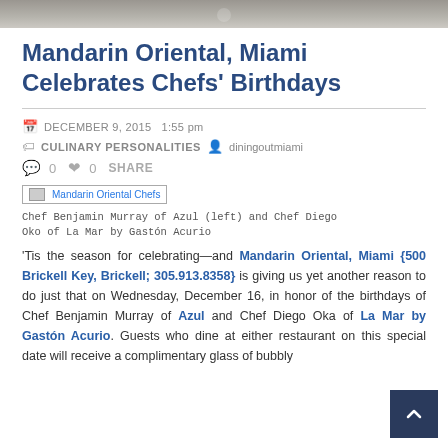[Figure (photo): Top portion of a photo showing two chefs in white uniforms, cropped at the top of the page]
Mandarin Oriental, Miami Celebrates Chefs' Birthdays
DECEMBER 9, 2015  1:55 pm
CULINARY PERSONALITIES  diningoutmiami
0  0  SHARE
[Figure (photo): Mandarin Oriental Chefs - broken/missing image placeholder]
Chef Benjamin Murray of Azul (left) and Chef Diego Oko of La Mar by Gastón Acurio
'Tis the season for celebrating—and Mandarin Oriental, Miami {500 Brickell Key, Brickell; 305.913.8358} is giving us yet another reason to do just that on Wednesday, December 16, in honor of the birthdays of Chef Benjamin Murray of Azul and Chef Diego Oka of La Mar by Gastón Acurio. Guests who dine at either restaurant on this special date will receive a complimentary glass of bubbly